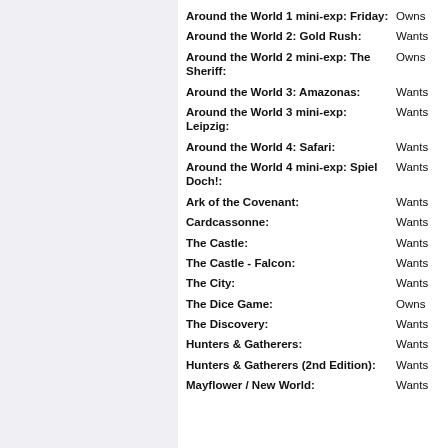Around the World 1 mini-exp: Friday: Owns
Around the World 2: Gold Rush: Wants
Around the World 2 mini-exp: The Sheriff: Owns
Around the World 3: Amazonas: Wants
Around the World 3 mini-exp: Leipzig: Wants
Around the World 4: Safari: Wants
Around the World 4 mini-exp: Spiel Doch!: Wants
Ark of the Covenant: Wants
Cardcassonne: Wants
The Castle: Wants
The Castle - Falcon: Wants
The City: Wants
The Dice Game: Owns
The Discovery: Wants
Hunters & Gatherers: Wants
Hunters & Gatherers (2nd Edition): Wants
Mayflower / New World: Wants